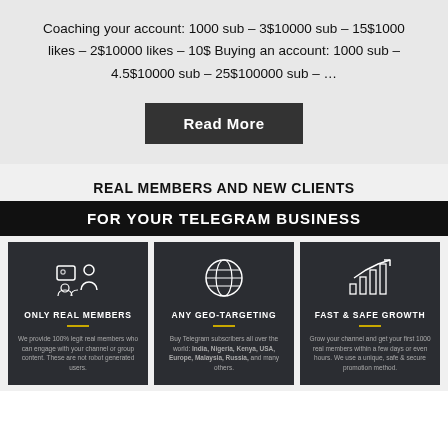Coaching your account: 1000 sub – 3$10000 sub – 15$1000 likes – 2$10000 likes – 10$ Buying an account: 1000 sub – 4.5$10000 sub – 25$100000 sub – …
Read More
REAL MEMBERS AND NEW CLIENTS
FOR YOUR TELEGRAM BUSINESS
[Figure (infographic): Three dark cards: 1) ONLY REAL MEMBERS with group/chat icon and text about 100% legit real members; 2) ANY GEO-TARGETING with globe icon and text about buying Telegram subscribers worldwide including India, Nigeria, Kenya, USA, Europe, Malaysia, Russia; 3) FAST & SAFE GROWTH with chart/arrow icon and text about growing your channel with 1000 real members in a few days.]